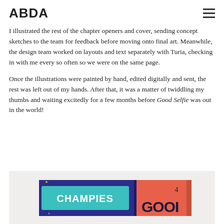ABDA
I illustrated the rest of the chapter openers and cover, sending concept sketches to the team for feedback before moving onto final art. Meanwhile, the design team worked on layouts and text separately with Turia, checking in with me every so often so we were on the same page.

Once the illustrations were painted by hand, edited digitally and sent, the rest was left out of my hands. After that, it was a matter of twiddling my thumbs and waiting excitedly for a few months before Good Selfie was out in the world!
[Figure (photo): Photo of book spines lying flat showing 'CHAMPIES' text in teal on a dark background and part of another book with red/coral cover with large text beginning 'GOOD...']